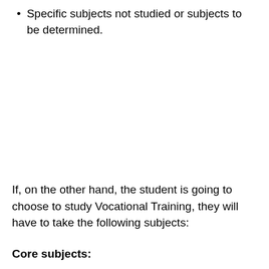Specific subjects not studied or subjects to be determined.
If, on the other hand, the student is going to choose to study Vocational Training, they will have to take the following subjects:
Core subjects: